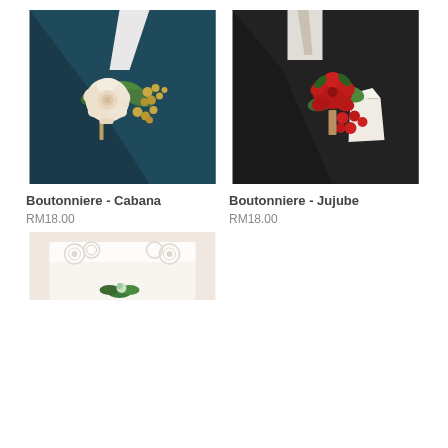[Figure (photo): Close-up of a boutonniere with a cream/white rose and greenery with gold berries on a navy blue suit lapel]
[Figure (photo): Close-up of a boutonniere with a red rose and red berries with a white pocket square on a black suit lapel]
Boutonniere - Cabana
Boutonniere - Jujube
RM18.00
RM18.00
[Figure (photo): Partial photo of a white lace wedding dress detail with floral boutonniere at bottom of page]